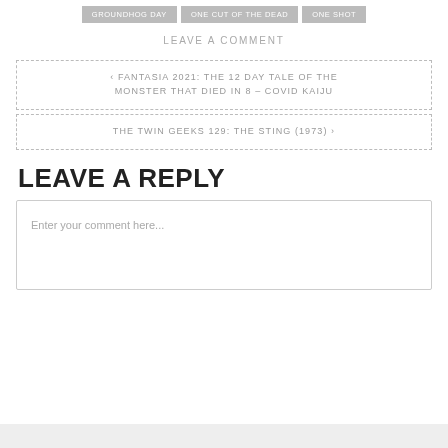GROUNDHOG DAY
ONE CUT OF THE DEAD
ONE SHOT
LEAVE A COMMENT
‹ FANTASIA 2021: THE 12 DAY TALE OF THE MONSTER THAT DIED IN 8 – COVID KAIJU
THE TWIN GEEKS 129: THE STING (1973) ›
LEAVE A REPLY
Enter your comment here...